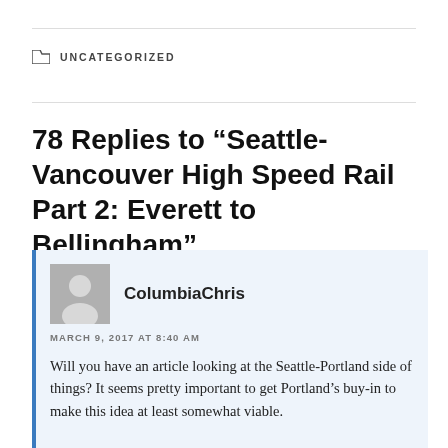UNCATEGORIZED
78 Replies to “Seattle-Vancouver High Speed Rail Part 2: Everett to Bellingham”
ColumbiaChris
MARCH 9, 2017 AT 8:40 AM
Will you have an article looking at the Seattle-Portland side of things? It seems pretty important to get Portland’s buy-in to make this idea at least somewhat viable.